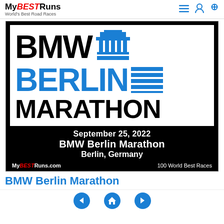MyBESTRuns — World's Best Road Races
[Figure (logo): BMW Berlin Marathon event logo and promotional card showing 'BMW BERLIN MARATHON' text with Brandenburg Gate icon, dated September 25, 2022, Berlin Germany, MyBESTRuns.com — 100 World Best Races]
BMW Berlin Marathon
Navigation: back, home, forward